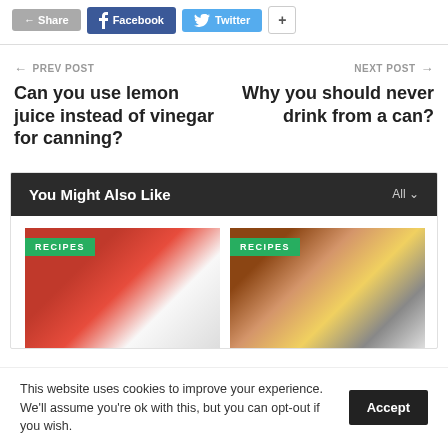[Figure (screenshot): Share bar with Share, Facebook, Twitter, and plus buttons]
← PREV POST
Can you use lemon juice instead of vinegar for canning?
NEXT POST →
Why you should never drink from a can?
You Might Also Like
[Figure (photo): Food photo with RECIPES badge on left side]
[Figure (photo): Food photo with RECIPES badge on right side]
This website uses cookies to improve your experience. We'll assume you're ok with this, but you can opt-out if you wish. Accept